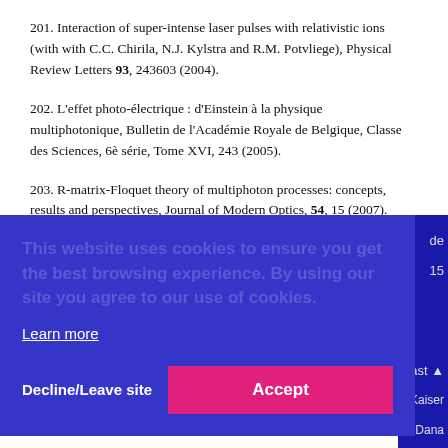201. Interaction of super-intense laser pulses with relativistic ions (with with C.C. Chirila, N.J. Kylstra and R.M. Potvliege), Physical Review Letters 93, 243603 (2004).
202. L'effet photo-électrique : d'Einstein à la physique multiphotonique, Bulletin de l'Académie Royale de Belgique, Classe des Sciences, 6è série, Tome XVI, 243 (2005).
203. R-matrix-Floquet theory of multiphoton processes: concepts, results and perspectives, Journal of Modern Optics, 54, 15 (2007).
[Figure (screenshot): Cookie consent overlay on a blue background with text 'This website uses cookies to ensure you get the best browsing experience. By using our site you agree to our use of cookies.' with a Learn more link and Decline/Leave site and Accept buttons.]